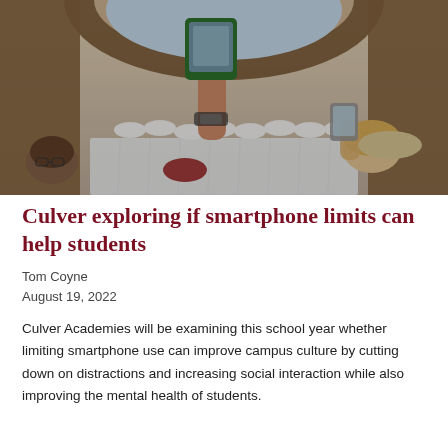[Figure (photo): A crowd of people in white uniforms and hats, photographed from behind. A hand in the foreground holds up a smartphone taking a photo of the scene. Another person on the right also holds a phone. The setting appears to be an outdoor ceremony or gathering under an archway.]
Culver exploring if smartphone limits can help students
Tom Coyne
August 19, 2022
Culver Academies will be examining this school year whether limiting smartphone use can improve campus culture by cutting down on distractions and increasing social interaction while also improving the mental health of students.